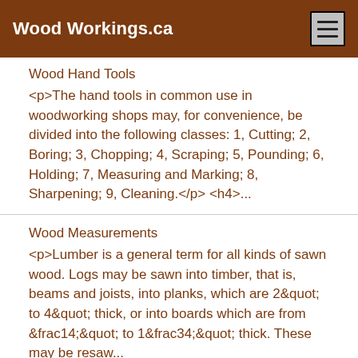Wood Workings.ca
Wood Hand Tools
<p>The hand tools in common use in woodworking shops may, for convenience, be divided into the following classes: 1, Cutting; 2, Boring; 3, Chopping; 4, Scraping; 5, Pounding; 6, Holding; 7, Measuring and Marking; 8, Sharpening; 9, Cleaning.</p> <h4>...
Wood Measurements
<p>Lumber is a general term for all kinds of sawn wood. Logs may be sawn into timber, that is, beams and joists, into planks, which are 2&quot; to 4&quot; thick, or into boards which are from &frac14;&quot; to 1&frac34;&quot; thick. These may be resaw...
Wood Turning Tools
<p>A wood turning kit should consist of one each of the following tools. Fig. 2 shows the general shape of these tools.</a></p> <p> 1&frac14;&quot; Gouge</a>